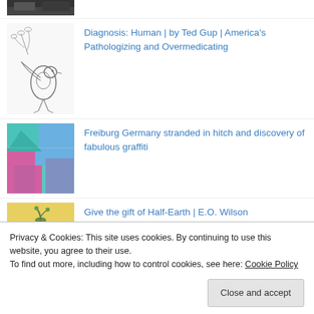[Figure (photo): Partial top strip of a photo, dark tones, partially visible]
Diagnosis: Human | by Ted Gup | America's Pathologizing and Overmedicating
[Figure (illustration): Black and white ink illustration of a bird with plant/floral elements]
Freiburg Germany stranded in hitch and discovery of fabulous graffiti
[Figure (photo): Colorful graffiti mural with abstract shapes in blue, pink, teal]
Give the gift of Half-Earth | E.O. Wilson
[Figure (photo): Person holding a small plant or seedling, yellow background]
Privacy & Cookies: This site uses cookies. By continuing to use this website, you agree to their use.
To find out more, including how to control cookies, see here: Cookie Policy
Storming of the Bastille Reenactment | Bearded...